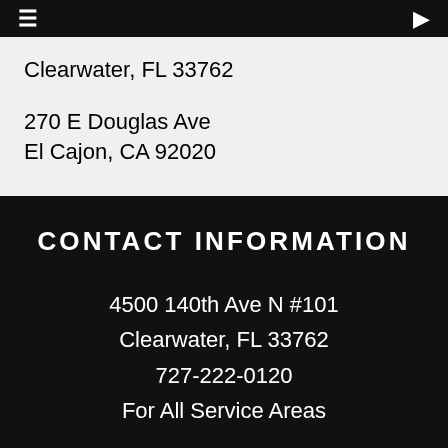≡  🔍
Clearwater, FL 33762
270 E Douglas Ave
El Cajon, CA 92020
CONTACT INFORMATION
4500 140th Ave N #101
Clearwater, FL 33762
727-222-0120
For All Service Areas